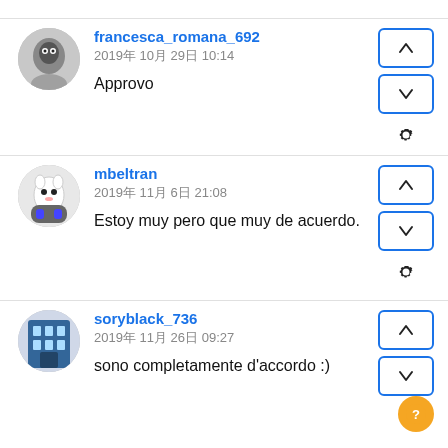francesca_romana_692
2019年 10月 29日 10:14
Approvo
mbeltran
2019年 11月 6日 21:08
Estoy muy pero que muy de acuerdo.
soryblack_736
2019年 11月 26日 09:27
sono completamente d'accordo :)